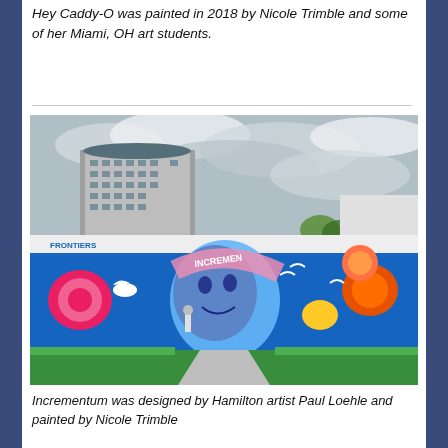Hey Caddy-O was painted in 2018 by Nicole Trimble and some of her Miami, OH art students.
[Figure (photo): Outdoor photograph of a large colorful mural on the side of a building. The mural features a prominent blue background with a large face, roses, a white dove, a small statue, flying birds, and orange floral shapes. A tall multi-story building and cloudy sky are visible in the background. A manicured garden with grass and a pathway is in the foreground.]
Incrementum was designed by Hamilton artist Paul Loehle and painted by Nicole Trimble